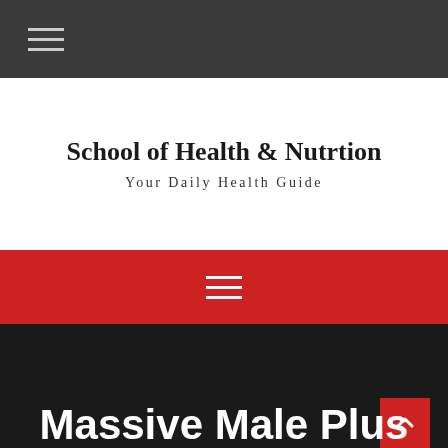☰ (hamburger menu icon)
School of Health & Nutrtion
Your Daily Health Guide
☰ (hamburger menu icon, red navigation bar)
Massive Male Plus